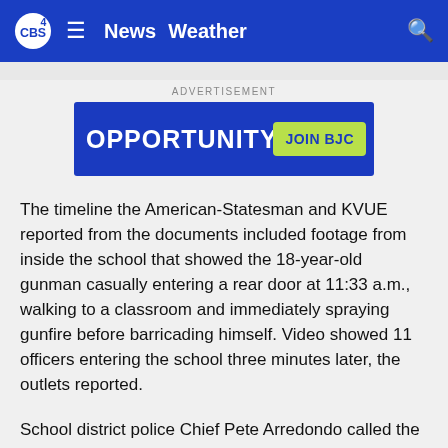CBS4 | News  Weather
[Figure (screenshot): Advertisement banner: OPPORTUNITY | JOIN BJC on blue background with green button]
The timeline the American-Statesman and KVUE reported from the documents included footage from inside the school that showed the 18-year-old gunman casually entering a rear door at 11:33 a.m., walking to a classroom and immediately spraying gunfire before barricading himself. Video showed 11 officers entering the school three minutes later, the outlets reported.
School district police Chief Pete Arredondo called the Uvalde Police Department landline and reported that their suspect had “shot a lot” with an AR-15-style rifle and outgunned the officers at the school, who he said were